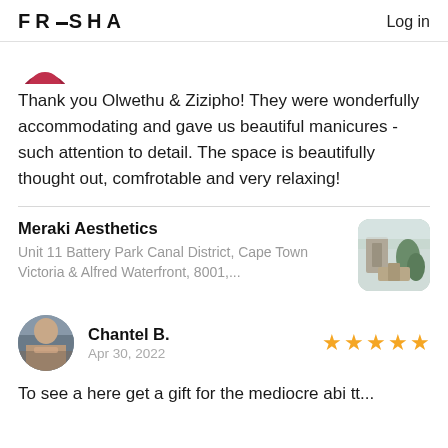FRESHA  Log in
[Figure (photo): Partial circular avatar in dark red/maroon color, cropped at bottom]
Thank you Olwethu & Zizipho! They were wonderfully accommodating and gave us beautiful manicures - such attention to detail. The space is beautifully thought out, comfrotable and very relaxing!
Meraki Aesthetics
Unit 11 Battery Park Canal District, Cape Town Victoria & Alfred Waterfront, 8001,...
[Figure (photo): Thumbnail photo of interior space with plants and chairs]
[Figure (photo): Circular profile photo of Chantel B., a person outdoors]
Chantel B.
Apr 30, 2022
[Figure (infographic): Five gold star rating]
To see a here get a gift for the mediocre abi tt...